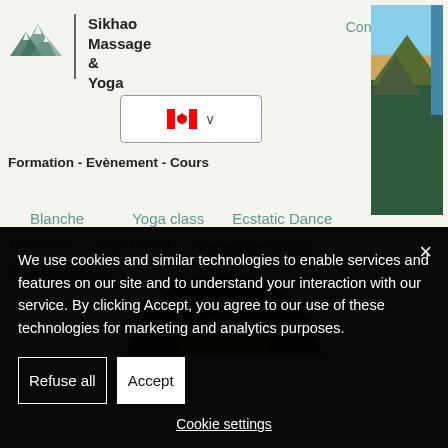[Figure (screenshot): Sikhao Massage & Yoga website header with mountain logo, navigation menu including Formation, Evènement, Cours, Blanche, Yoga class, Ecstatic Dance, Massage, Yoga retreat, Yoga teacher training, Massage training links, Contact link, WhatsApp button, language selector with Canadian flag, and circular portrait photo of a blonde woman]
We use cookies and similar technologies to enable services and features on our site and to understand your interaction with our service. By clicking Accept, you agree to our use of these technologies for marketing and analytics purposes.
Refuse all
Accept
Cookie settings